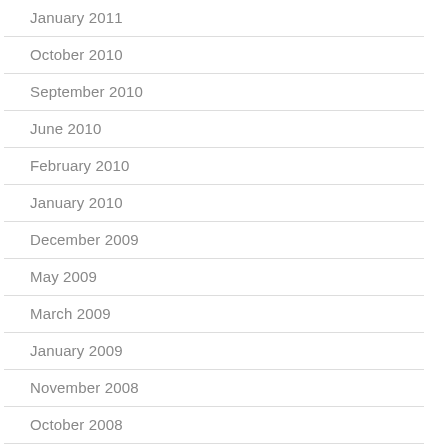January 2011
October 2010
September 2010
June 2010
February 2010
January 2010
December 2009
May 2009
March 2009
January 2009
November 2008
October 2008
August 2008
July 2008